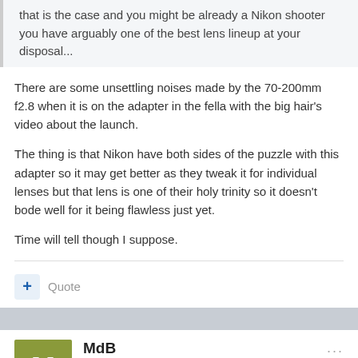that is the case and you might be already a Nikon shooter you have arguably one of the best lens lineup at your disposal...
There are some unsettling noises made by the 70-200mm f2.8 when it is on the adapter in the fella with the big hair's video about the launch.
The thing is that Nikon have both sides of the puzzle with this adapter so it may get better as they tweak it for individual lenses but that lens is one of their holy trinity so it doesn't bode well for it being flawless just yet.
Time will tell though I suppose.
Quote
MdB
Posted August 25, 2018